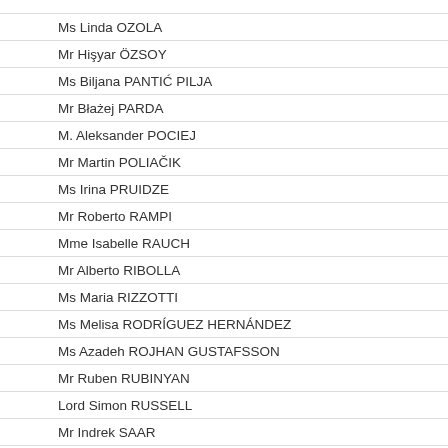Mr [name cut off] [SURNAME cut off]
Ms Linda OZOLA
Mr Hişyar ÖZSOY
Ms Biljana PANTIĆ PILJA
Mr Błażej PARDA
M. Aleksander POCIEJ
Mr Martin POLIAČIK
Ms Irina PRUIDZE
Mr Roberto RAMPI
Mme Isabelle RAUCH
Mr Alberto RIBOLLA
Ms Maria RIZZOTTI
Ms Melisa RODRÍGUEZ HERNÁNDEZ
Ms Azadeh ROJHAN GUSTAFSSON
Mr Ruben RUBINYAN
Lord Simon RUSSELL
Mr Indrek SAAR
Ms Ulla SANDRÆK